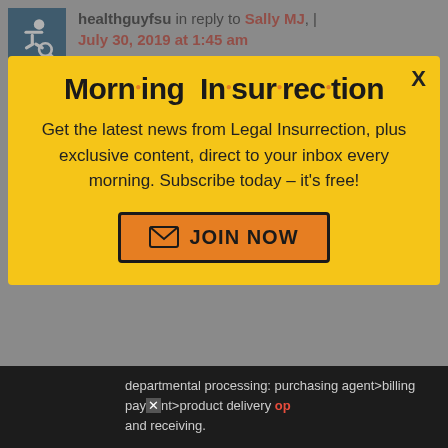healthguyfsu in reply to Sally MJ, | July 30, 2019 at 1:45 am
While I agree with you Sally, the
[Figure (screenshot): Modal popup with yellow background showing Morning Insurrection newsletter signup. Title reads 'Morn·ing In·sur·rec·tion' with orange dots. Text: 'Get the latest news from Legal Insurrection, plus exclusive content, direct to your inbox every morning. Subscribe today – it's free!' with an orange JOIN NOW button.]
departmental processing: purchasing agent>billing payment>product delivery and receiving.